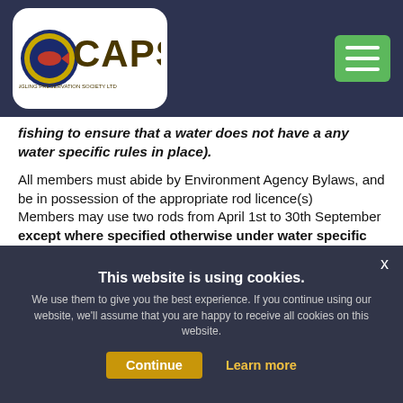CAPS - Colchester Angling Preservation Society Ltd
fishing to ensure that a water does not have a any water specific rules in place).
All members must abide by Environment Agency Bylaws, and be in possession of the appropriate rod licence(s)
Members may use two rods from April 1st to 30th September except where specified otherwise under water specific rules. Three rods are permitted on all Society still waters from 1st October to 31st March, except Layer Pit, Olivers Lake, West Mersea and Brookhall.
No angler shall leave a baited rod unattended in or out of the water...
This website is using cookies. We use them to give you the best experience. If you continue using our website, we'll assume that you are happy to receive all cookies on this website.